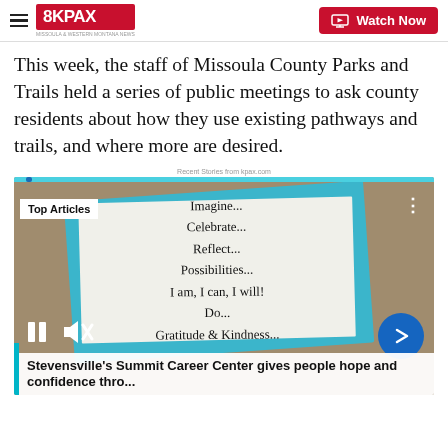8KPAX | Watch Now
This week, the staff of Missoula County Parks and Trails held a series of public meetings to ask county residents about how they use existing pathways and trails, and where more are desired.
Recent Stories from kpax.com
[Figure (screenshot): Video player showing a sign with motivational text: 'Imagine... Celebrate... Reflect... Possibilities... I am, I can, I will! Do... Gratitude & Kindness...' with Top Articles badge, pause/mute controls, and an arrow button. Below is a caption: Stevensville's Summit Career Center gives people hope and confidence thro...]